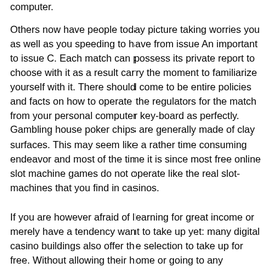computer.
Others now have people today picture taking worries you as well as you speeding to have from issue An important to issue C. Each match can possess its private report to choose with it as a result carry the moment to familiarize yourself with it. There should come to be entire policies and facts on how to operate the regulators for the match from your personal computer key-board as perfectly. Gambling house poker chips are generally made of clay surfaces. This may seem like a rather time consuming endeavor and most of the time it is since most free online slot machine games do not operate like the real slot-machines that you find in casinos.
If you are however afraid of learning for great income or merely have a tendency want to take up yet: many digital casino buildings also offer the selection to take up for free. Without allowing their home or going to any accepted